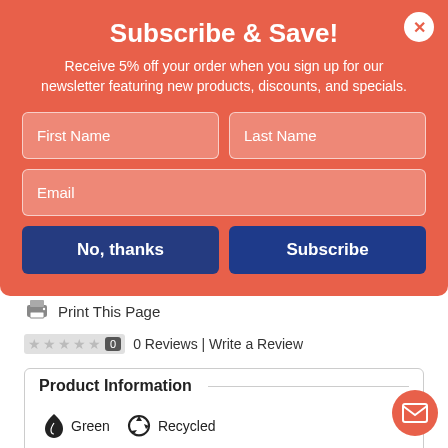Subscribe & Save!
Receive 5% off your order when you sign up for our newsletter featuring new products, discounts, and specials.
First Name | Last Name | Email (form fields)
No, thanks | Subscribe (buttons)
Print This Page
0 Reviews | Write a Review
Product Information
Green  Recycled
Compare and Save
$1,122.99  Officedepot.com
$990.99  Staples.com